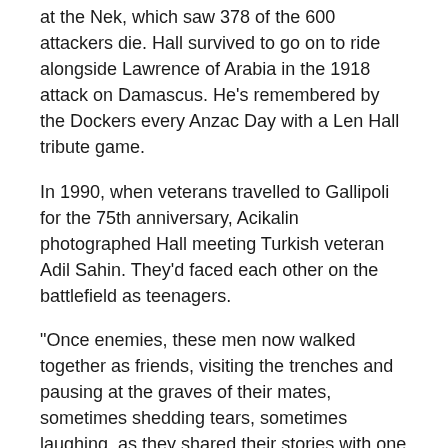at the Nek, which saw 378 of the 600 attackers die. Hall survived to go on to ride alongside Lawrence of Arabia in the 1918 attack on Damascus. He’s remembered by the Dockers every Anzac Day with a Len Hall tribute game.
In 1990, when veterans travelled to Gallipoli for the 75th anniversary, Acikalin photographed Hall meeting Turkish veteran Adil Sahin. They’d faced each other on the battlefield as teenagers.
“Once enemies, these men now walked together as friends, visiting the trenches and pausing at the graves of their mates, sometimes shedding tears, sometimes laughing, as they shared their stories with one another,” he says.
The exhibition was opened by Althea McTaggart, whose father—highly decorated major general Edmund Drake-